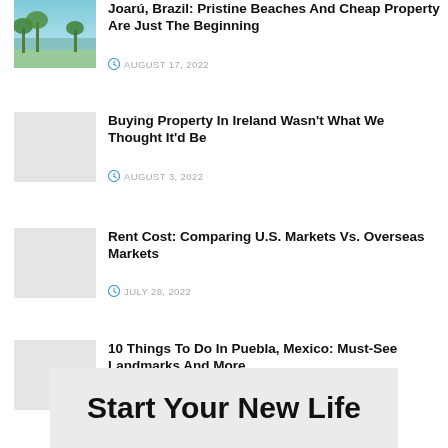[Figure (photo): Beach scene with palm trees and ocean, partially cropped at top]
Joarú, Brazil: Pristine Beaches And Cheap Property Are Just The Beginning
AUGUST 17, 2022
[Figure (photo): Light gray placeholder thumbnail]
Buying Property In Ireland Wasn't What We Thought It'd Be
AUGUST 3, 2022
[Figure (photo): Light gray placeholder thumbnail]
Rent Cost: Comparing U.S. Markets Vs. Overseas Markets
JULY 28, 2022
[Figure (photo): Light gray placeholder thumbnail]
10 Things To Do In Puebla, Mexico: Must-See Landmarks And More
JULY 20, 2022
Start Your New Life